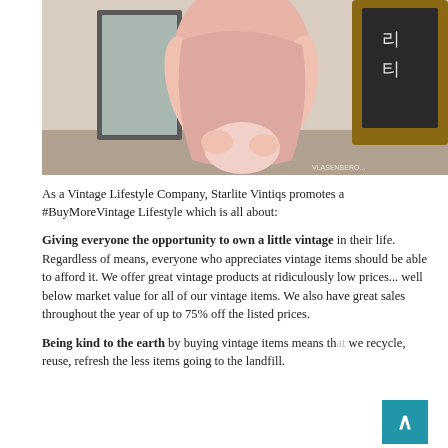[Figure (photo): A woman in a pink dress holding a pink clutch bag, standing near a wooden chalkboard sign with Korean writing. Outdoor scene.]
As a Vintage Lifestyle Company, Starlite Vintiqs promotes a #BuyMoreVintage Lifestyle which is all about:
Giving everyone the opportunity to own a little vintage in their life. Regardless of means, everyone who appreciates vintage items should be able to afford it. We offer great vintage products at ridiculously low prices... well below market value for all of our vintage items. We also have great sales throughout the year of up to 75% off the listed prices.
Being kind to the earth by buying vintage items means th... we recycle, reuse, refresh the less items going to the landfill.